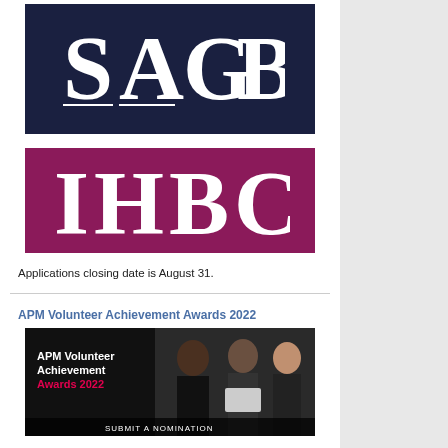[Figure (logo): SAGB logo — white stylized 'SAGB' lettering on dark navy blue background]
[Figure (logo): IHBC logo — white 'IHBC' lettering on dark magenta/purple background]
Applications closing date is August 31.
APM Volunteer Achievement Awards 2022
[Figure (photo): Photo showing three people at APM Volunteer Achievement Awards 2022 event; text overlay reads 'APM Volunteer Achievement Awards 2022' with 'SUBMIT A NOMINATION' at bottom]